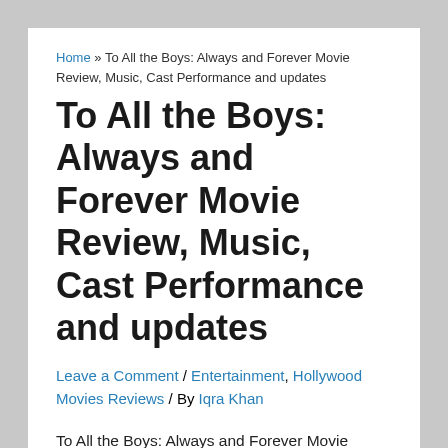Home » To All the Boys: Always and Forever Movie Review, Music, Cast Performance and updates
To All the Boys: Always and Forever Movie Review, Music, Cast Performance and updates
Leave a Comment / Entertainment, Hollywood Movies Reviews / By Iqra Khan
To All the Boys: Always and Forever Movie Review cast Performance and box office collection Reports. To all the boys always and forever leaked online by piracy